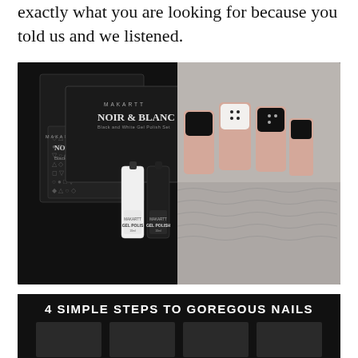exactly what you are looking for because you told us and we listened.
[Figure (photo): Makartt Noir & Blanc Black and White Gel Polish Set product packaging on the left, showing the branded box and two gel polish bottles (one white, one black), alongside a photo of a hand with black and white nail art on a grey knitted background on the right.]
4 SIMPLE STEPS TO GOREGOUS NAILS
[Figure (photo): Four step-by-step icons for applying gel nail polish, partially visible at the bottom of the page.]